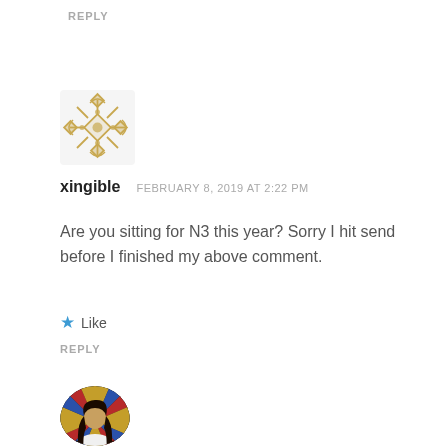REPLY
[Figure (illustration): Decorative geometric SVG avatar/icon in gold/brown tones, resembling a snowflake or tribal pattern]
xingible   FEBRUARY 8, 2019 AT 2:22 PM
Are you sitting for N3 this year? Sorry I hit send before I finished my above comment.
★ Like
REPLY
[Figure (photo): Circular profile photo of a person with long dark hair, colorful event background]